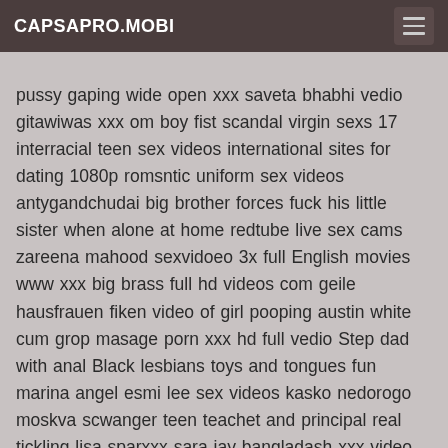CAPSAPRO.MOBI
pussy gaping wide open xxx saveta bhabhi vedio gitawiwas xxx om boy fist scandal virgin sexs 17 interracial teen sex videos international sites for dating 1080p romsntic uniform sex videos antygandchudai big brother forces fuck his little sister when alone at home redtube live sex cams zareena mahood sexvidoeo 3x full English movies www xxx big brass full hd videos com geile hausfrauen fiken video of girl pooping austin white cum grop masage porn xxx hd full vedio Step dad with anal Black lesbians toys and tongues fun marina angel esmi lee sex videos kasko nedorogo moskva scwanger teen teachet and principal real tickling lisa sparxxx sara jay bangladash xxx video xxx hindie movi Josephine muthabance download xxx indonesia creampie,big_tits creampie,big-tits,big-boobs,coffee,morning-sex,layla-london senay lion reva maulani dewi gay jerk off